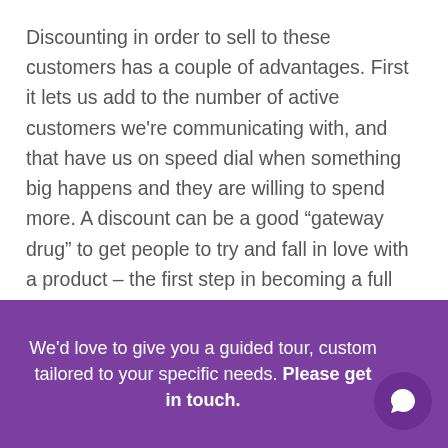Discounting in order to sell to these customers has a couple of advantages. First it lets us add to the number of active customers we're communicating with, and that have us on speed dial when something big happens and they are willing to spend more. A discount can be a good “gateway drug” to get people to try and fall in love with a product – the first step in becoming a full price customer.
More importantly these customers also represent profitable sales we’re currently
We'd love to give you a guided tour, custom tailored to your specific needs. Please get in touch.